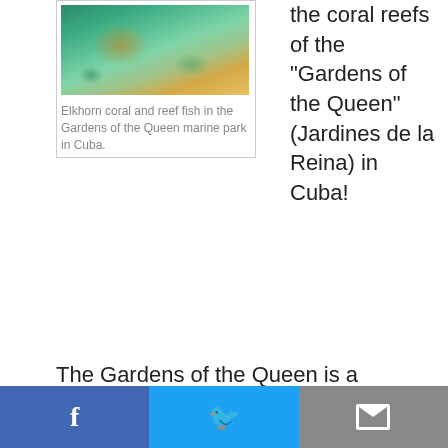[Figure (photo): Underwater photo showing elkhorn coral and reef fish in the Gardens of the Queen marine park in Cuba.]
Elkhorn coral and reef fish in the Gardens of the Queen marine park in Cuba.
the coral reefs of the “Gardens of the Queen” (Jardines de la Reina) in Cuba!
The Gardens of the Queen is a spectacular national park off the south central coast of Cuba.  EDF has had the privilege of working with Cuban scientists and resource managers in the park for several years.  Just this past November we teamed up with Cuban partners there to host an international workshop on fisheries
[Figure (infographic): Facebook share button]
[Figure (infographic): Twitter share button]
[Figure (infographic): Email share button]